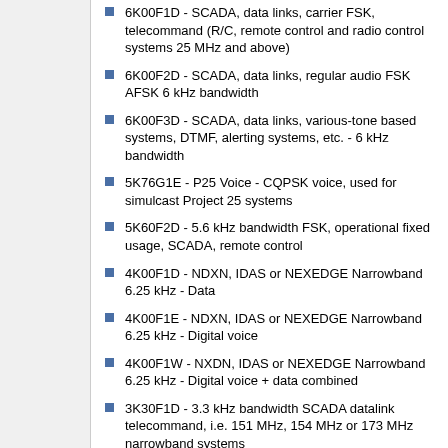6K00F1D - SCADA, data links, carrier FSK, telecommand (R/C, remote control and radio control systems 25 MHz and above)
6K00F2D - SCADA, data links, regular audio FSK AFSK 6 kHz bandwidth
6K00F3D - SCADA, data links, various-tone based systems, DTMF, alerting systems, etc. - 6 kHz bandwidth
5K76G1E - P25 Voice - CQPSK voice, used for simulcast Project 25 systems
5K60F2D - 5.6 kHz bandwidth FSK, operational fixed usage, SCADA, remote control
4K00F1D - NDXN, IDAS or NEXEDGE Narrowband 6.25 kHz - Data
4K00F1E - NDXN, IDAS or NEXEDGE Narrowband 6.25 kHz - Digital voice
4K00F1W - NXDN, IDAS or NEXEDGE Narrowband 6.25 kHz - Digital voice + data combined
3K30F1D - 3.3 kHz bandwidth SCADA datalink telecommand, i.e. 151 MHz, 154 MHz or 173 MHz narrowband systems